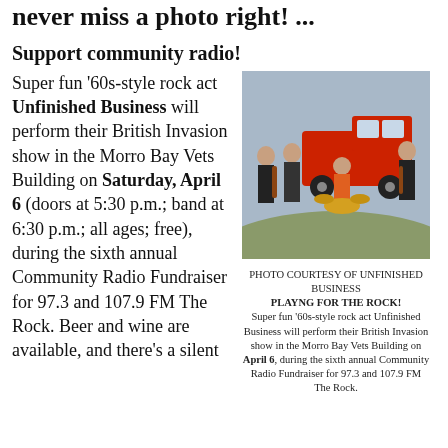never miss a photo right! ...
Support community radio!
Super fun '60s-style rock act Unfinished Business will perform their British Invasion show in the Morro Bay Vets Building on Saturday, April 6 (doors at 5:30 p.m.; band at 6:30 p.m.; all ages; free), during the sixth annual Community Radio Fundraiser for 97.3 and 107.9 FM The Rock. Beer and wine are available, and there's a silent
[Figure (photo): Photo of the band Unfinished Business — four musicians posing in front of a red truck with drum kit and instruments]
PHOTO COURTESY OF UNFINISHED BUSINESS
PLAYNG FOR THE ROCK!
Super fun '60s-style rock act Unfinished Business will perform their British Invasion show in the Morro Bay Vets Building on April 6, during the sixth annual Community Radio Fundraiser for 97.3 and 107.9 FM The Rock.